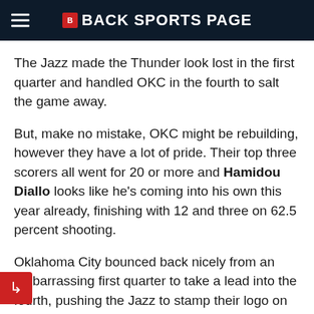BACK SPORTS PAGE
The Jazz made the Thunder look lost in the first quarter and handled OKC in the fourth to salt the game away.
But, make no mistake, OKC might be rebuilding, however they have a lot of pride. Their top three scorers all went for 20 or more and Hamidou Diallo looks like he's coming into his own this year already, finishing with 12 and three on 62.5 percent shooting.
Oklahoma City bounced back nicely from an embarrassing first quarter to take a lead into the fourth, pushing the Jazz to stamp their logo on the game with a 32-21 fourth.